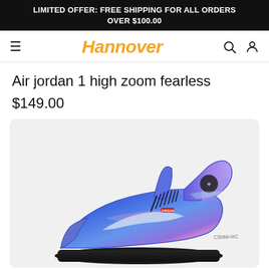LIMITED OFFER: FREE SHIPPING FOR ALL ORDERS OVER $100.00
[Figure (logo): Hannover brand logo with hamburger menu and search/account icons]
Air jordan 1 high zoom fearless
$149.00
[Figure (photo): Air Jordan 1 High Zoom Fearless sneaker with iridescent blue/purple holographic finish and black laces, side profile view]